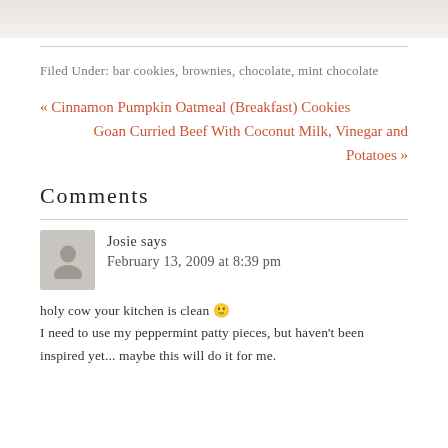[Figure (photo): Partial image strip at top of page showing a food/baked good photo cropped at bottom]
Filed Under: bar cookies, brownies, chocolate, mint chocolate
« Cinnamon Pumpkin Oatmeal (Breakfast) Cookies
Goan Curried Beef With Coconut Milk, Vinegar and Potatoes »
Comments
Josie says
February 13, 2009 at 8:39 pm
holy cow your kitchen is clean 🙂
I need to use my peppermint patty pieces, but haven't been inspired yet... maybe this will do it for me.